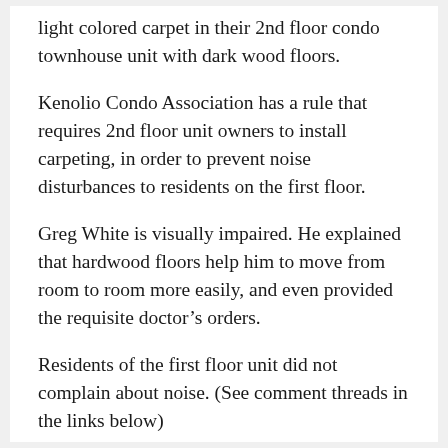light colored carpet in their 2nd floor condo townhouse unit with dark wood floors.
Kenolio Condo Association has a rule that requires 2nd floor unit owners to install carpeting, in order to prevent noise disturbances to residents on the first floor.
Greg White is visually impaired. He explained that hardwood floors help him to move from room to room more easily, and even provided the requisite doctor’s orders.
Residents of the first floor unit did not complain about noise. (See comment threads in the links below)